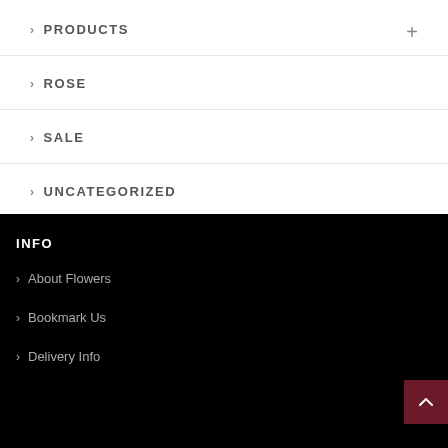> PRODUCTS
> ROSE
> SALE
> UNCATEGORIZED
INFO
> About Flowers
> Bookmark Us
> Delivery Info